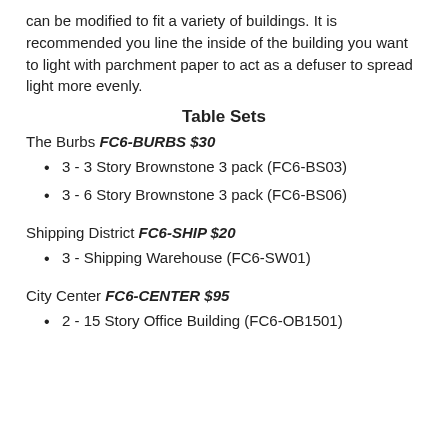can be modified to fit a variety of buildings. It is recommended you line the inside of the building you want to light with parchment paper to act as a defuser to spread light more evenly.
Table Sets
The Burbs FC6-BURBS $30
3 - 3 Story Brownstone 3 pack (FC6-BS03)
3 - 6 Story Brownstone 3 pack (FC6-BS06)
Shipping District FC6-SHIP $20
3 - Shipping Warehouse (FC6-SW01)
City Center FC6-CENTER $95
2 - 15 Story Office Building (FC6-OB1501)